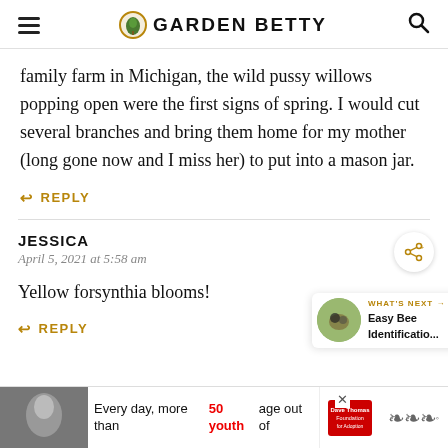GARDEN BETTY
family farm in Michigan, the wild pussy willows popping open were the first signs of spring. I would cut several branches and bring them home for my mother (long gone now and I miss her) to put into a mason jar.
REPLY
JESSICA
April 5, 2021 at 5:58 am
Yellow forsynthia blooms!
REPLY
[Figure (screenshot): Advertisement banner: 'Every day, more than 50 youth age out of' with Dave Thomas Foundation for Adoption logo, and a small circular bee image]
WHAT'S NEXT → Easy Bee Identificatio...